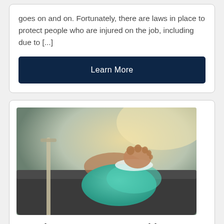goes on and on. Fortunately, there are laws in place to protect people who are injured on the job, including due to [...]
Learn More
[Figure (photo): A person resting on a couch with a teal/green cast on their foot and lower leg, with crutches visible beside them.]
Caught In or Compressed by